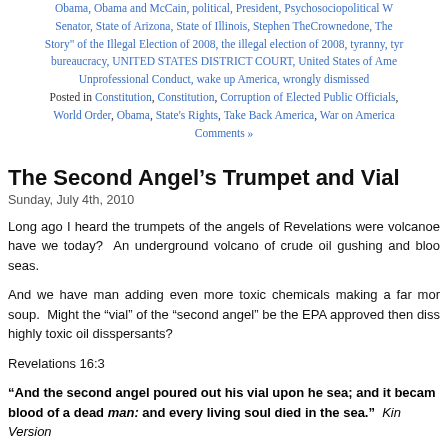Obama, Obama and McCain, political, President, Psychosociopolitical W, Senator, State of Arizona, State of Illinois, Stephen TheCrownedone, The Story" of the Illegal Election of 2008, the illegal election of 2008, tyranny, tyr bureaucracy, UNITED STATES DISTRICT COURT, United States of Ame Unprofessional Conduct, wake up America, wrongly dismissed
Posted in Constitution, Constitution, Corruption of Elected Public Officials, World Order, Obama, State's Rights, Take Back America, War on America Comments »
The Second Angel's Trumpet and Vial
Sunday, July 4th, 2010
Long ago I heard the trumpets of the angels of Revelations were volcanoe have we today?  An underground volcano of crude oil gushing and bloo seas.
And we have man adding even more toxic chemicals making a far mor soup.  Might the “vial” of the “second angel” be the EPA approved then diss highly toxic oil disspersants?
Revelations 16:3
“And the second angel poured out his vial upon he sea; and it becam blood of a dead man: and every living soul died in the sea.”  King Version
I have no accounting for the order of appearances and the apparent accounting for the first angel’s trumpet of Revelations 8:7